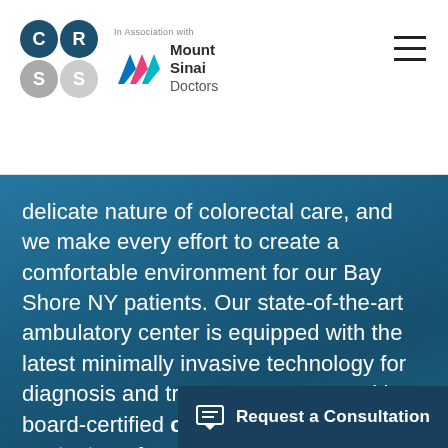[Figure (logo): CRS colorectal surgery logo with four circles (C, R, S, S) in dark teal and gray, alongside Mount Sinai Doctors logo with colorful chevron and text]
delicate nature of colorectal care, and we make every effort to create a comfortable environment for our Bay Shore NY patients. Our state-of-the-art ambulatory center is equipped with the latest minimally invasive technology for diagnosis and treatment. To meet with a board-certified colorectal specialist, contact our Long Island practice today.
Request a Consultation